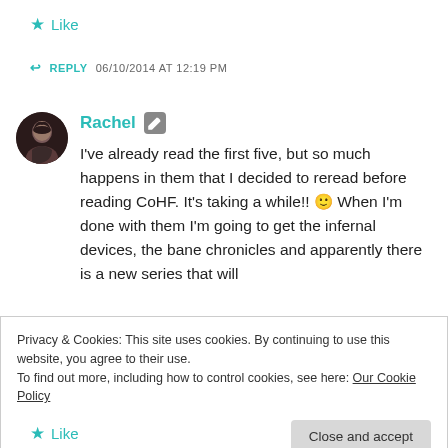★ Like
↩ REPLY  06/10/2014 AT 12:19 PM
Rachel
I've already read the first five, but so much happens in them that I decided to reread before reading CoHF. It's taking a while!! 🙂 When I'm done with them I'm going to get the infernal devices, the bane chronicles and apparently there is a new series that will
Privacy & Cookies: This site uses cookies. By continuing to use this website, you agree to their use.
To find out more, including how to control cookies, see here: Our Cookie Policy
Close and accept
★ Like